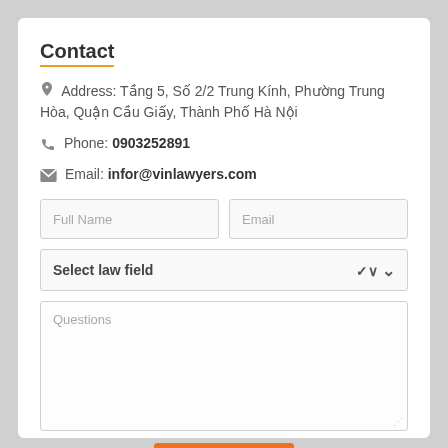Contact
Address: Tầng 5, Số 2/2 Trung Kính, Phường Trung Hòa, Quận Cầu Giấy, Thành Phố Hà Nội
Phone: 0903252891
Email: infor@vinlawyers.com
Full Name
Email
Select law field
Questions